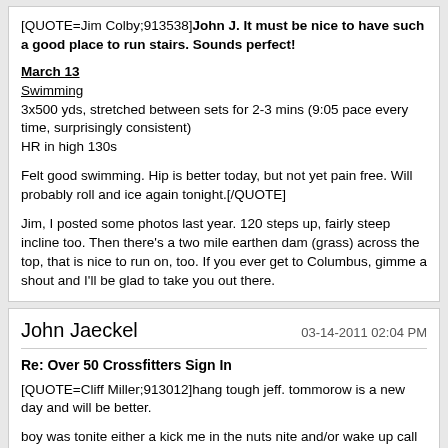[QUOTE=Jim Colby;913538][B]John J. It must be nice to have such a good place to run stairs. Sounds perfect![/B]

[B][U]March 13[/U][/B]
[U]Swimming[/U]
3x500 yds, stretched between sets for 2-3 mins (9:05 pace every time, surprisingly consistent)
HR in high 130s

Felt good swimming. Hip is better today, but not yet pain free. Will probably roll and ice again tonight.[/QUOTE]

Jim, I posted some photos last year. 120 steps up, fairly steep incline too. Then there's a two mile earthen dam (grass) across the top, that is nice to run on, too. If you ever get to Columbus, gimme a shout and I'll be glad to take you out there.
John Jaeckel
03-14-2011 02:04 PM
Re: Over 50 Crossfitters Sign In
[QUOTE=Cliff Miller;913012]hang tough jeff. tommorow is a new day and will be better.

boy was tonite either a kick me in the nuts nite and/or wake up call kinda nite.

started the morning off wrong and the whole day kinda went that way...